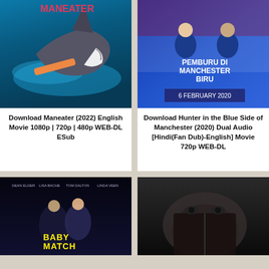[Figure (photo): Movie poster for Maneater (2022) - shark attacking a surfer in ocean water]
Download Maneater (2022) English Movie 1080p | 720p | 480p WEB-DL ESub
[Figure (photo): Movie poster for Pemburu Di Manchester Biru - Hunter in the Blue Side of Manchester (2020), two men in football jerseys, 6 February 2020]
Download Hunter in the Blue Side of Manchester (2020) Dual Audio [Hindi(Fan Dub)-English] Movie 720p WEB-DL
[Figure (photo): Movie poster for Baby Match - dark blue toned thriller poster with actors names at top]
[Figure (photo): Dark close-up photo showing a person with book or object near face]